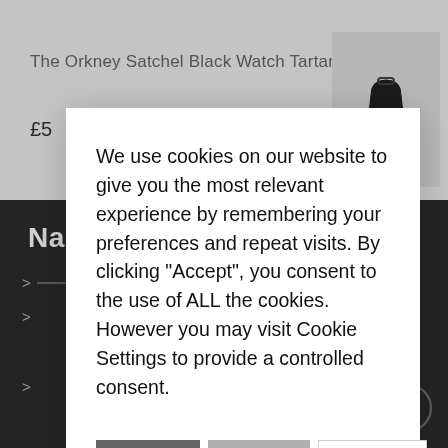The Orkney Satchel Black Watch Tartan
£5
Na
We use cookies on our website to give you the most relevant experience by remembering your preferences and repeat visits. By clicking "Accept", you consent to the use of ALL the cookies. However you may visit Cookie Settings to provide a controlled consent.
ACCEPT
REJECT
SETTINGS